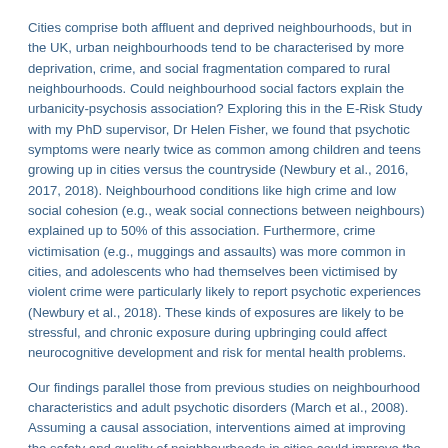Cities comprise both affluent and deprived neighbourhoods, but in the UK, urban neighbourhoods tend to be characterised by more deprivation, crime, and social fragmentation compared to rural neighbourhoods. Could neighbourhood social factors explain the urbanicity-psychosis association? Exploring this in the E-Risk Study with my PhD supervisor, Dr Helen Fisher, we found that psychotic symptoms were nearly twice as common among children and teens growing up in cities versus the countryside (Newbury et al., 2016, 2017, 2018). Neighbourhood conditions like high crime and low social cohesion (e.g., weak social connections between neighbours) explained up to 50% of this association. Furthermore, crime victimisation (e.g., muggings and assaults) was more common in cities, and adolescents who had themselves been victimised by violent crime were particularly likely to report psychotic experiences (Newbury et al., 2018). These kinds of exposures are likely to be stressful, and chronic exposure during upbringing could affect neurocognitive development and risk for mental health problems.
Our findings parallel those from previous studies on neighbourhood characteristics and adult psychotic disorders (March et al., 2008). Assuming a causal association, interventions aimed at improving the safety and quality of neighbourhoods in cities could improve the mental health trajectories of our youngest citizens. However, emerging evidence suggests that the urbanicity-psychosis association could be more environmental than social in origin.
New data: Could air pollution play a role?